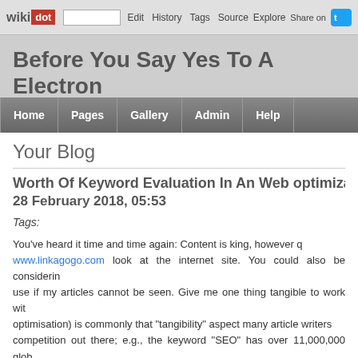wikidot | site | Edit | History | Tags | Source | Explore | Share on [Twitter]
Before You Say Yes To A Electronic Advertising Solutions
Home | Pages | Gallery | Admin | Help
Your Blog
Worth Of Keyword Evaluation In An Web optimiza...
28 February 2018, 05:53
Tags:
You've heard it time and time again: Content is king, however q... www.linkagogo.com look at the internet site. You could also be considerin... use if my articles cannot be seen. Give me one thing tangible to work wit... optimisation) is commonly that "tangibility" aspect many article writers... competition out there; e.g., the keyword "SEO" has over 11,000,000 glob... can include quite a lot of issues including, but not restricted to, the follo... website may be a huge funding, however it is value it. Search engines v... they will share it on social media, leading to even more visitors. You can... your website, and as your audience grows, you may expand your content... To be taught extra, see the Beginner's Guide to Content material Ac...